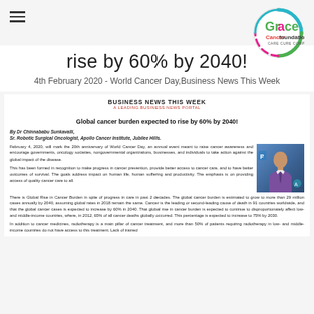Grace Cancer Foundation logo with hamburger menu
rise by 60% by 2040!
4th February 2020 - World Cancer Day,Business News This Week
BUSINESS NEWS THIS WEEK
A LEADING BUSINESS NEWS PORTAL
Global cancer burden expected to rise by 60% by 2040!
By Dr Chinnababu Sunkavalli,
Sr. Robotic Surgical Oncologist, Apollo Cancer Institute, Jubilee Hills.
February 4, 2020, will mark the 20th anniversary of World Cancer Day, an annual event meant to raise cancer awareness and encourage governments, oncology societies, nongovernmental organizations, businesses, and individuals to take action against the global impact of the disease.
This has been formed in recognition to make progress in cancer prevention, provide better access to cancer care, and to have better outcomes of survival. The goals address impact on human life, human suffering and productivity. The emphasis is on providing access of quality cancer care to all.
There is Global Rise in Cancer Burden in spite of progress in care in past 2 decades. The global cancer burden is estimated to grow to more than 29 million cases annually by 2040, assuming global rates in 2018 remain the same. Cancer is the leading or second-leading cause of death in 91 countries worldwide, and that the global cancer cases is expected to increase by 60% in 2040. That global rise in cancer burden is expected to continue to disproportionately affect low- and middle-income countries, where, in 2012, 65% of all cancer deaths globally occurred. This percentage is expected to increase to 75% by 2030.
In addition to cancer medicines, radiotherapy is a main pillar of cancer treatment, and more than 50% of patients requiring radiotherapy in low- and middle-income countries do not have access to this treatment. Lack of trained
[Figure (photo): Photo of Dr Chinnababu Sunkavalli, a man in a purple shirt and tie against a blue/medical background]